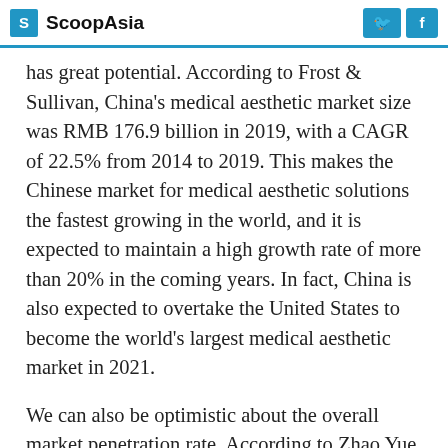ScoopAsia
has great potential. According to Frost & Sullivan, China's medical aesthetic market size was RMB 176.9 billion in 2019, with a CAGR of 22.5% from 2014 to 2019. This makes the Chinese market for medical aesthetic solutions the fastest growing in the world, and it is expected to maintain a high growth rate of more than 20% in the coming years. In fact, China is also expected to overtake the United States to become the world's largest medical aesthetic market in 2021.
We can also be optimistic about the overall market penetration rate. According to Zhao Yue, an industry analyst from Sealand Securities, compared with the